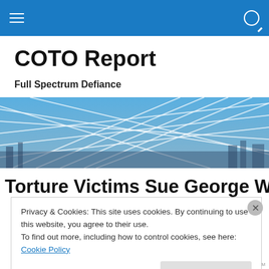Navigation bar with hamburger menu and search icon
COTO Report
Full Spectrum Defiance
[Figure (photo): Sky filled with white contrail cross-hatch patterns over a cityscape at sunset]
Torture Victims Sue George W...
Privacy & Cookies: This site uses cookies. By continuing to use this website, you agree to their use.
To find out more, including how to control cookies, see here: Cookie Policy
[Close and accept button]